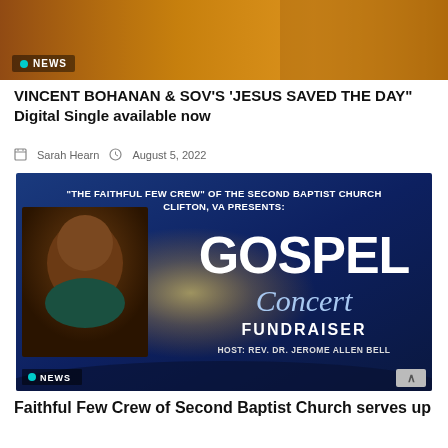[Figure (photo): Header image of a person in a yellow/gold background with NEWS badge]
VINCENT BOHANAN & SOV'S 'JESUS SAVED THE DAY" Digital Single available now
Sarah Hearn   August 5, 2022
[Figure (photo): Gospel Concert Fundraiser event poster. 'The Faithful Few Crew' of the Second Baptist Church Clifton, VA Presents: GOSPEL Concert FUNDRAISER HOST: REV. DR. JEROME ALLEN BELL. Shows a smiling man in a teal jacket with gold scarf. NEWS badge at bottom left.]
Faithful Few Crew of Second Baptist Church serves up